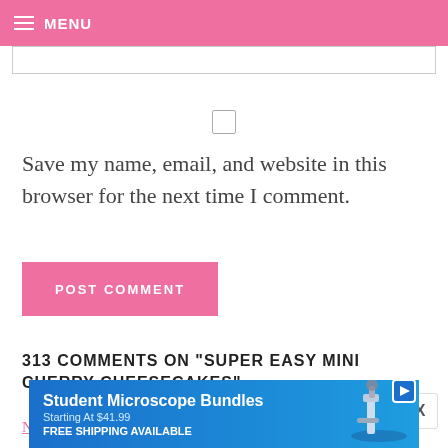MENU
Save my name, email, and website in this browser for the next time I comment.
POST COMMENT
313 COMMENTS ON "SUPER EASY MINI CHERRY CHEESECAKES"
Newer Comments
[Figure (screenshot): Student Microscope Bundles advertisement banner. Blue gradient background with text: Student Microscope Bundles, Starting At $41.99, FREE SHIPPING AVAILABLE, and an image of a microscope with a play button icon.]